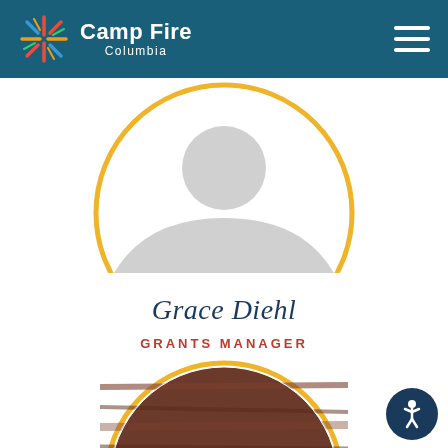Camp Fire Columbia
[Figure (photo): Placeholder circular profile photo with grey silhouette for Grace Diehl, Grants Manager]
Grace Diehl
GRANTS MANAGER
[Figure (photo): Circular profile photo of a person with brown hair against a wooden background]